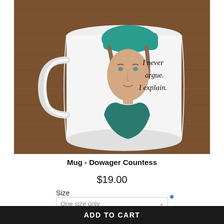[Figure (photo): A white ceramic mug sitting on a wooden surface. The mug features an illustrated portrait of the Dowager Countess wearing a teal hat and teal outfit. Beside the illustration, text in a handwritten style reads: 'I never argue. I explain.']
Mug - Dowager Countess
$19.00
Size
One size only
ADD TO CART